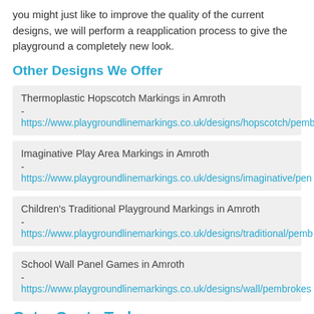you might just like to improve the quality of the current designs, we will perform a reapplication process to give the playground a completely new look.
Other Designs We Offer
Thermoplastic Hopscotch Markings in Amroth - https://www.playgroundlinemarkings.co.uk/designs/hopscotch/pemb
Imaginative Play Area Markings in Amroth - https://www.playgroundlinemarkings.co.uk/designs/imaginative/pen
Children's Traditional Playground Markings in Amroth - https://www.playgroundlinemarkings.co.uk/designs/traditional/pemb
School Wall Panel Games in Amroth - https://www.playgroundlinemarkings.co.uk/designs/wall/pembrokes
Get a Quote Today